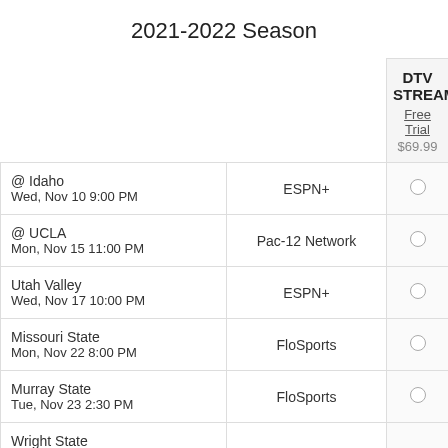2021-2022 Season
|  |  | DTV STREAM
Free Trial
$69.99 |
| --- | --- | --- |
| @ Idaho
Wed, Nov 10 9:00 PM | ESPN+ | ○ |
| @ UCLA
Mon, Nov 15 11:00 PM | Pac-12 Network | ○ |
| Utah Valley
Wed, Nov 17 10:00 PM | ESPN+ | ○ |
| Missouri State
Mon, Nov 22 8:00 PM | FloSports | ○ |
| Murray State
Tue, Nov 23 2:30 PM | FloSports | ○ |
| Wright State |  |  |